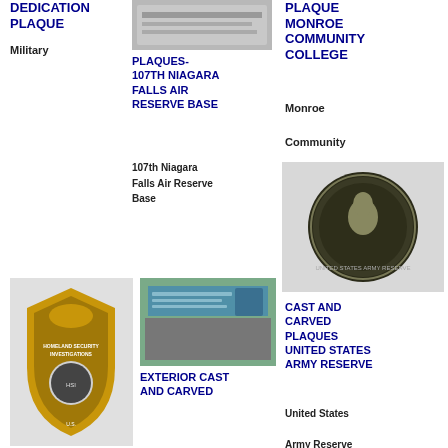DEDICATION PLAQUE
Military
[Figure (photo): Photo of a dedication plaque]
PLAQUES- 107TH NIAGARA FALLS AIR RESERVE BASE
107th Niagara Falls Air Reserve Base
PLAQUE MONROE COMMUNITY COLLEGE
Monroe Community College
[Figure (photo): Photo of a United States Army Reserve coin/medallion]
CAST AND CARVED PLAQUES UNITED STATES ARMY RESERVE
United States Army Reserve
[Figure (photo): Homeland Security Investigations badge]
[Figure (photo): Exterior cast and carved plaque sign]
EXTERIOR CAST AND CARVED